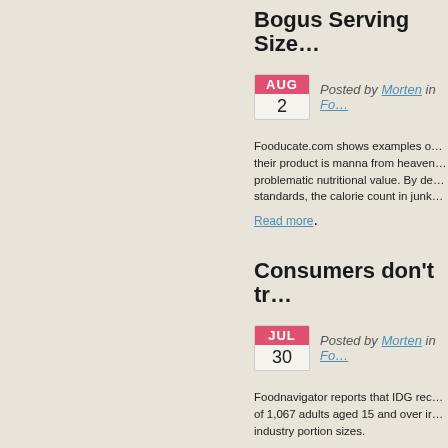Bogus Serving Size…
Posted by Morten in Fo…
Fooducate.com shows examples of… their product is manna from heaven… problematic nutritional value. By de… standards, the calorie count in junk…
Read more.
Consumers don't tr…
Posted by Morten in Fo…
Foodnavigator reports that IDG rec… of 1,067 adults aged 15 and over ir… industry portion sizes.
Read more.
Let FSA know what… GDA-labels